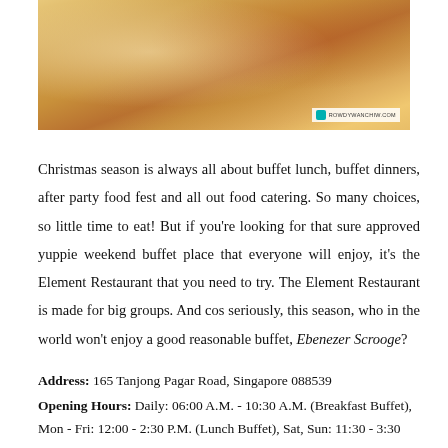[Figure (photo): Close-up photo of cooked food (likely roasted or baked dish, golden-brown color) on a plate, with a website watermark in the bottom right corner.]
Christmas season is always all about buffet lunch, buffet dinners, after party food fest and all out food catering. So many choices, so little time to eat! But if you're looking for that sure approved yuppie weekend buffet place that everyone will enjoy, it's the Element Restaurant that you need to try. The Element Restaurant is made for big groups. And cos seriously, this season, who in the world won't enjoy a good reasonable buffet, Ebenezer Scrooge?
Address: 165 Tanjong Pagar Road, Singapore 088539
Opening Hours: Daily: 06:00 A.M. - 10:30 A.M. (Breakfast Buffet), Mon - Fri: 12:00 - 2:30 P.M. (Lunch Buffet), Sat, Sun: 11:30 - 3:30